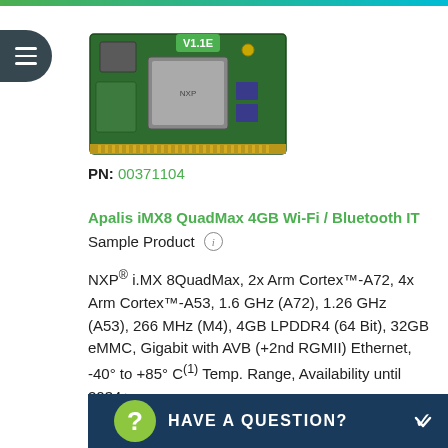[Figure (photo): Photo of Apalis iMX8 QuadMax module circuit board with V1.1E version badge]
PN: 00371104
Apalis iMX8 QuadMax 4GB Wi-Fi / Bluetooth IT
Sample Product (i)
NXP® i.MX 8QuadMax, 2x Arm Cortex™-A72, 4x Arm Cortex™-A53, 1.6 GHz (A72), 1.26 GHz (A53), 266 MHz (M4), 4GB LPDDR4 (64 Bit), 32GB eMMC, Gigabit with AVB (+2nd RGMII) Ethernet, -40° to +85° C(1) Temp. Range, Availability until 2034+
HAVE A QUESTION?